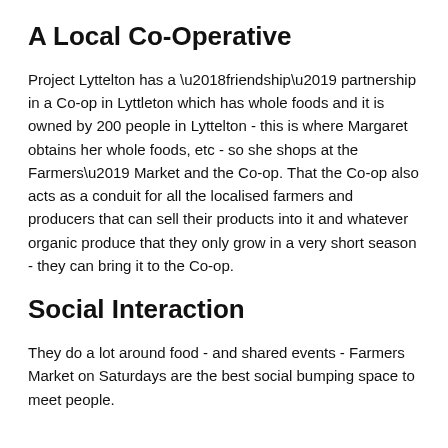A Local Co-Operative
Project Lyttelton has a ‘friendship’ partnership in a Co-op in Lyttleton which has whole foods and it is owned by 200 people in Lyttelton - this is where Margaret obtains her whole foods, etc - so she shops at the Farmers’ Market and the Co-op. That the Co-op also acts as a conduit for all the localised farmers and producers that can sell their products into it and whatever organic produce that they only grow in a very short season - they can bring it to the Co-op.
Social Interaction
They do a lot around food - and shared events - Farmers Market on Saturdays are the best social bumping space to meet people.